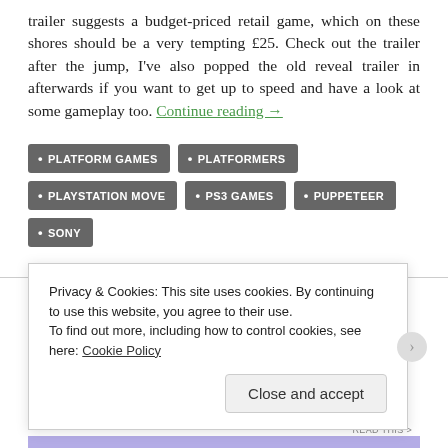trailer suggests a budget-priced retail game, which on these shores should be a very tempting £25. Check out the trailer after the jump, I've also popped the old reveal trailer in afterwards if you want to get up to speed and have a look at some gameplay too. Continue reading →
PLATFORM GAMES
PLATFORMERS
PLAYSTATION MOVE
PS3 GAMES
PUPPETEER
SONY
ACTION, PLATFORMS, PLAYSTATION 3, PLAYSTATION MOVE, REVIEWS
Privacy & Cookies: This site uses cookies. By continuing to use this website, you agree to their use. To find out more, including how to control cookies, see here: Cookie Policy
Close and accept